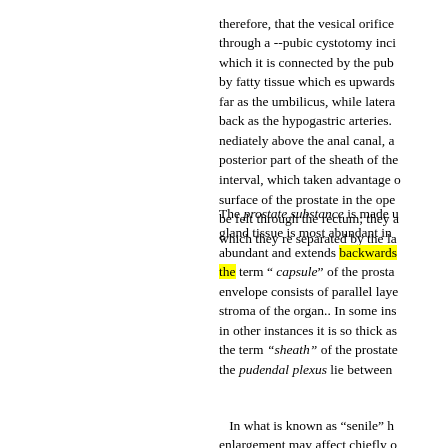therefore, that the vesical orifice through a --pubic cystotomy inci which it is connected by the pub by fatty tissue which es upwards far as the umbilicus, while latera back as the hypogastric arteries. nediately above the anal canal, a posterior part of the sheath of the interval, which taken advantage o surface of the prostate in the ope be felt through the rectum; they a which they re separated by the la
The prostate substance is made u gland tissue is most abundant in abundant and extends backwards the term " capsule" of the prosta envelope consists of parallel laye stroma of the organ.. In some ins in other instances it is so thick as the term "sheath" of the prostate the pudendal plexus lie between
In what is known as “senile” h enlargement may affect chiefly o